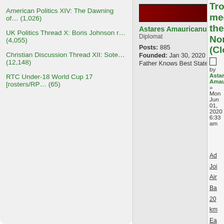American Politics XIV: The Dawning of… (1,026)
UK Politics Thread X: Boris Johnson r… (4,055)
Christian Discussion Thread XII: Sote… (12,148)
RTC Under-18 World Cup 17 [rosters/RP… (65)
ADVERTISEMENT
Remove ads
[Figure (photo): Dark red/maroon banner image, user avatar for Astares Amauricanum]
Astares Amauricanum
Diplomat
Posts: 885
Founded: Jan 30, 2020
Father Knows Best State
Tropic meet the North (Close…
by Astares Amaurican
» Mon Jun 01, 2020 6:33 am
Ad Joi Air Ba 20 km Ea of